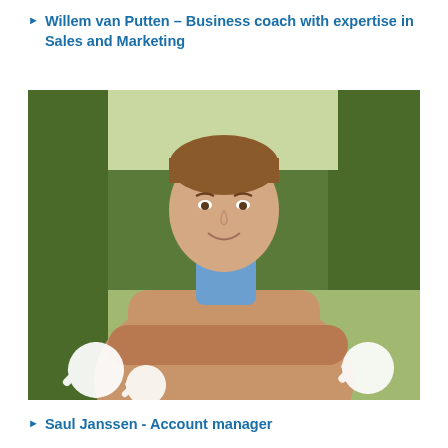Willem van Putten – Business coach with expertise in Sales and Marketing
[Figure (photo): Smiling man in a tan sweater and blue shirt sitting outdoors in a park-like setting with trees in the background and white decorative snowflake ornaments in front]
Saul Janssen - Account manager
[Figure (photo): Partial view of a person photographed outdoors, light/grey background]